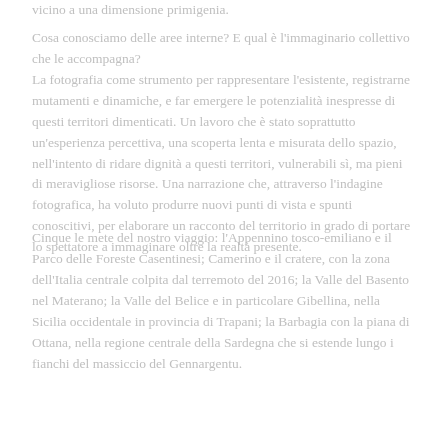vicino a una dimensione primigenia.
Cosa conosciamo delle aree interne? E qual è l'immaginario collettivo che le accompagna?
La fotografia come strumento per rappresentare l'esistente, registrarne mutamenti e dinamiche, e far emergere le potenzialità inespresse di questi territori dimenticati. Un lavoro che è stato soprattutto un'esperienza percettiva, una scoperta lenta e misurata dello spazio, nell'intento di ridare dignità a questi territori, vulnerabili sì, ma pieni di meravigliose risorse. Una narrazione che, attraverso l'indagine fotografica, ha voluto produrre nuovi punti di vista e spunti conoscitivi, per elaborare un racconto del territorio in grado di portare lo spettatore a immaginare oltre la realtà presente.
Cinque le mete del nostro viaggio: l'Appennino tosco-emiliano e il Parco delle Foreste Casentinesi; Camerino e il cratere, con la zona dell'Italia centrale colpita dal terremoto del 2016; la Valle del Basento nel Materano; la Valle del Belice e in particolare Gibellina, nella Sicilia occidentale in provincia di Trapani; la Barbagia con la piana di Ottana, nella regione centrale della Sardegna che si estende lungo i fianchi del massiccio del Gennargentu.